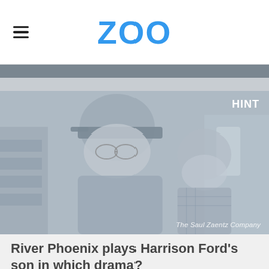ZOO
[Figure (photo): Black and white film still showing two people in what appears to be a store setting. The person in the foreground wears a baseball cap and glasses. A second younger person is visible in the background. Upper right corner has a 'HINT' label. Lower right has watermark 'The Saul Zaentz Company'.]
River Phoenix plays Harrison Ford's son in which drama?